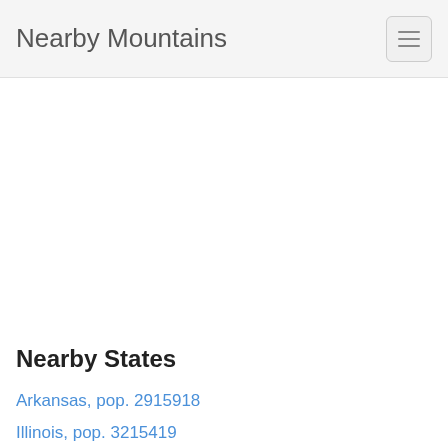Nearby Mountains
Nearby States
Arkansas, pop. 2915918
Illinois, pop. 3215419
Kansas, pop. 2853118